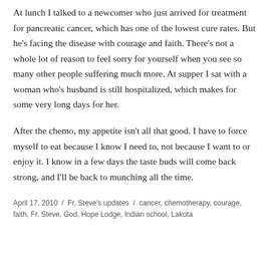At lunch I talked to a newcomer who just arrived for treatment for pancreatic cancer, which has one of the lowest cure rates. But he's facing the disease with courage and faith. There's not a whole lot of reason to feel sorry for yourself when you see so many other people suffering much more. At supper I sat with a woman who's husband is still hospitalized, which makes for some very long days for her.
After the chemo, my appetite isn't all that good. I have to force myself to eat because I know I need to, not because I want to or enjoy it. I know in a few days the taste buds will come back strong, and I'll be back to munching all the time.
April 17, 2010  /  Fr. Steve's updates  /  cancer, chemotherapy, courage, faith, Fr. Steve, God, Hope Lodge, Indian school, Lakota